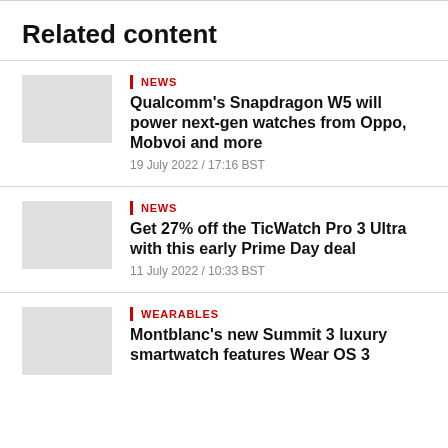Related content
NEWS
Qualcomm's Snapdragon W5 will power next-gen watches from Oppo, Mobvoi and more
19 July 2022 / 17:16 BST
NEWS
Get 27% off the TicWatch Pro 3 Ultra with this early Prime Day deal
11 July 2022 / 10:33 BST
WEARABLES
Montblanc's new Summit 3 luxury smartwatch features Wear OS 3